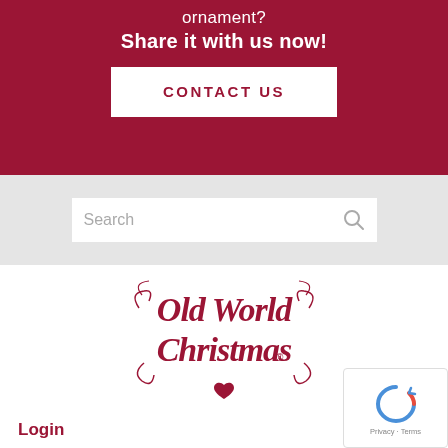ornament?
Share it with us now!
CONTACT US
[Figure (other): Search input box with magnifying glass icon on light gray background]
[Figure (logo): Old World Christmas logo in crimson red cursive text with decorative flourishes and a heart]
Login
[Figure (other): reCAPTCHA widget with circular arrows icon and Privacy - Terms text]